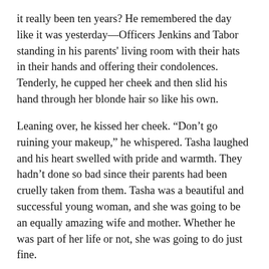it really been ten years? He remembered the day like it was yesterday—Officers Jenkins and Tabor standing in his parents' living room with their hats in their hands and offering their condolences. Tenderly, he cupped her cheek and then slid his hand through her blonde hair so like his own.
Leaning over, he kissed her cheek. “Don’t go ruining your makeup,” he whispered. Tasha laughed and his heart swelled with pride and warmth. They hadn’t done so bad since their parents had been cruelly taken from them. Tasha was a beautiful and successful young woman, and she was going to be an equally amazing wife and mother. Whether he was part of her life or not, she was going to do just fine.
“Ladies and gentlemen, would you like to move the party outside to the pool area. We have much to set up for tomorrow,” the wedding coordinator announced with his clipped British accent. The suited and booted cliché-gay was a little too sure of himself for Lucas’s liking, but he was to the point and beyond efficient, if not slightly regimental. Seriously,